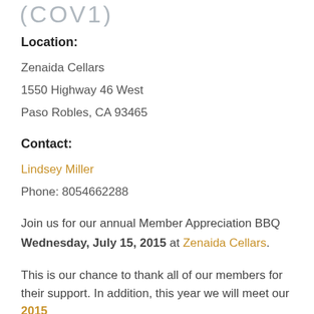[Figure (logo): Partial logo text showing curved parentheses and letters, light gray color]
Location:
Zenaida Cellars
1550 Highway 46 West
Paso Robles, CA 93465
Contact:
Lindsey Miller
Phone: 8054662288
Join us for our annual Member Appreciation BBQ Wednesday, July 15, 2015 at Zenaida Cellars.
This is our chance to thank all of our members for their support. In addition, this year we will meet our 2015